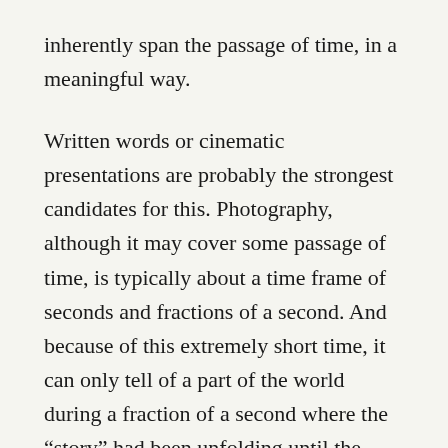inherently span the passage of time, in a meaningful way.
Written words or cinematic presentations are probably the strongest candidates for this. Photography, although it may cover some passage of time, is typically about a time frame of seconds and fractions of a second. And because of this extremely short time, it can only tell of a part of the world during a fraction of a second where the “story” had been unfolding until the photographer decided to click the shutter and continued